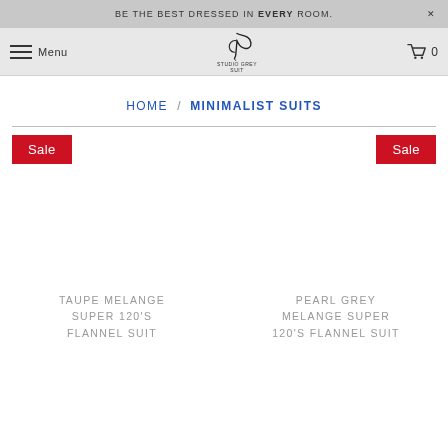BE THE BEST DRESSED IN EVERY ROOM.
[Figure (logo): Brand logo with stylized bird/feather and text underneath]
HOME / MINIMALIST SUITS
Sale
Sale
TAUPE MELANGE SUPER 120'S FLANNEL SUIT
PEARL GREY MELANGE SUPER 120'S FLANNEL SUIT